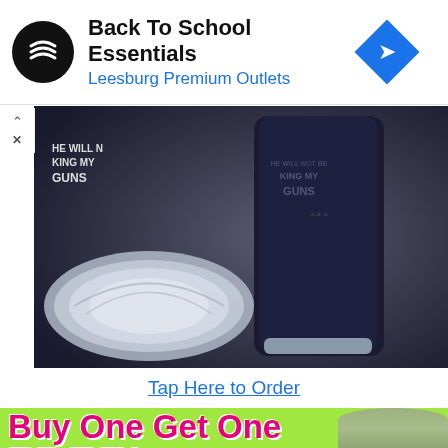[Figure (screenshot): Advertisement banner: Back To School Essentials - Leesburg Premium Outlets with logo and navigation icon]
[Figure (photo): Dark navy/black insulated tumbler cup with 'He Will Not Be Taking My Guns' text and lid on grey surface]
Tap Here to Order
[Figure (infographic): Green background advertisement: Buy One Get One FREE! with man holding pillow]